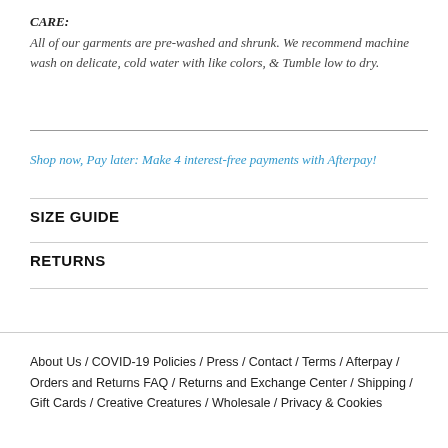CARE:
All of our garments are pre-washed and shrunk. We recommend machine wash on delicate, cold water with like colors, & Tumble low to dry.
Shop now, Pay later: Make 4 interest-free payments with Afterpay!
SIZE GUIDE
RETURNS
About Us / COVID-19 Policies / Press / Contact / Terms / Afterpay / Orders and Returns FAQ / Returns and Exchange Center / Shipping / Gift Cards / Creative Creatures / Wholesale / Privacy & Cookies